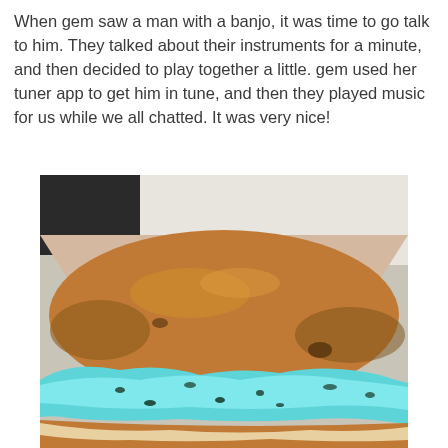When gem saw a man with a banjo, it was time to go talk to him. They talked about their instruments for a minute, and then decided to play together a little. gem used her tuner app to get him in tune, and then they played music for us while we all chatted. It was very nice!
[Figure (photo): Close-up photo of a round golden-brown bread bun filled with bright turquoise/blue ice cream with dark specks, served in a white paper box/bag. The background shows white paper packaging and dark areas.]